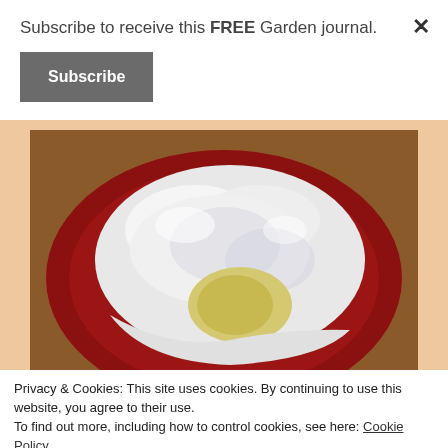Subscribe to receive this FREE Garden journal.
Subscribe
[Figure (photo): A white-frosted baked good (likely a lemon cake or cinnamon roll) on a dark red/maroon plate, photographed from above. The interior shows a yellowish filling.]
Privacy & Cookies: This site uses cookies. By continuing to use this website, you agree to their use.
To find out more, including how to control cookies, see here: Cookie Policy
Close and accept